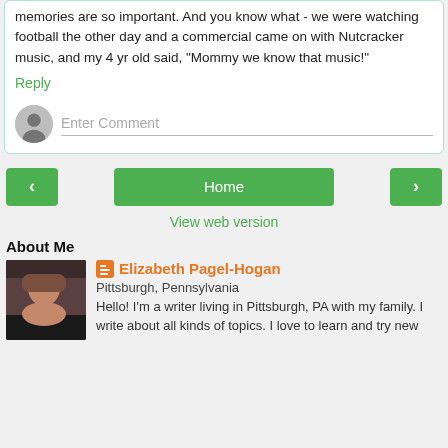memories are so important. And you know what - we were watching football the other day and a commercial came on with Nutcracker music, and my 4 yr old said, "Mommy we know that music!"
Reply
Enter Comment
Home
View web version
About Me
Elizabeth Pagel-Hogan
Pittsburgh, Pennsylvania
Hello! I'm a writer living in Pittsburgh, PA with my family. I write about all kinds of topics. I love to learn and try new